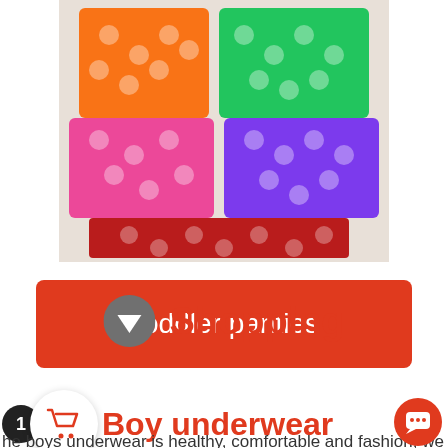[Figure (photo): Colorful toddler panties/shorts in multiple colors including orange, green, pink, purple, and red with polka dot patterns, displayed folded in a stack.]
Toddler panties
Shopping
Boy underwear
he boys underwear is healthy, comfortable and fashion, we